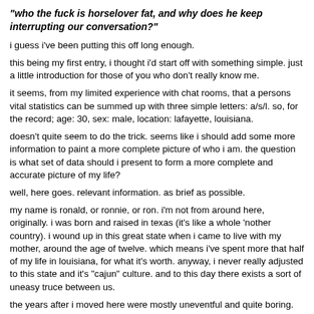"who the fuck is horselover fat, and why does he keep interrupting our conversation?"
i guess i've been putting this off long enough.
this being my first entry, i thought i'd start off with something simple. just a little introduction for those of you who don't really know me.
it seems, from my limited experience with chat rooms, that a persons vital statistics can be summed up with three simple letters: a/s/l. so, for the record; age: 30, sex: male, location: lafayette, louisiana.
doesn't quite seem to do the trick. seems like i should add some more information to paint a more complete picture of who i am. the question is what set of data should i present to form a more complete and accurate picture of my life?
well, here goes. relevant information. as brief as possible.
my name is ronald, or ronnie, or ron. i'm not from around here, originally. i was born and raised in texas (it's like a whole 'nother country). i wound up in this great state when i came to live with my mother, around the age of twelve. which means i've spent more that half of my life in louisiana, for what it's worth. anyway, i never really adjusted to this state and it's "cajun" culture. and to this day there exists a sort of uneasy truce between us.
the years after i moved here were mostly uneventful and quite boring. didn't make a lot of friends. but i was a pretty good student. at least through high school. when it came to college, i dropped out. twice. this is a situation i would greatly regret and am currently trying to rectify.
so after the college thing fell apart, i kind of wandered around a bit. met a girl. got married. "settled down" and had kids. i was 22 when i got married, and it was probably the single biggest mistake of my life (there's so many to choose from)